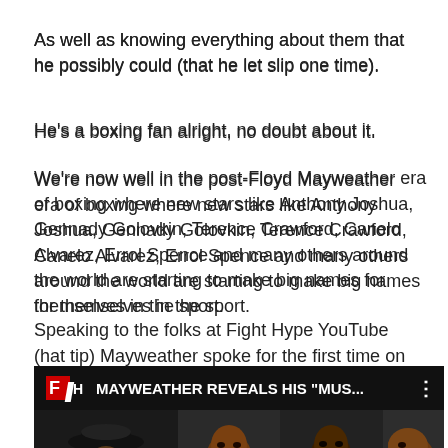As well as knowing everything about them that he possibly could (that he let slip one time).
He's a boxing fan alright, no doubt about it.
We're now well in the post-Floyd Mayweather era of boxing where new stars like Anthony Joshua, Gennady Golovkin, Terence Crawford, Canelo Alvarez, Errol Spence and many others around the world are starting to make big names for themselves in the sport.
Speaking to the folks at Fight Hype YouTube (hat tip) Mayweather spoke for the first time on all the fighters in today's time that he rates:
[Figure (screenshot): YouTube video thumbnail for 'MAYWEATHER REVEALS HIS MUS...' with Fight Hype logo and boxer face panels on dark background]